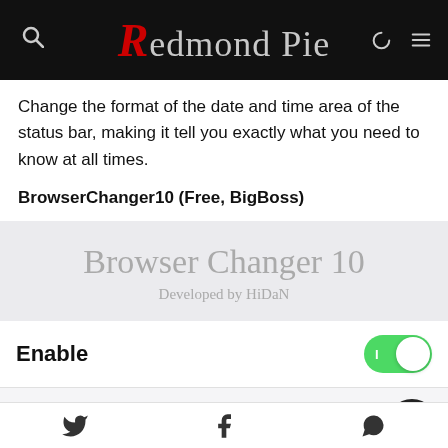Redmond Pie
Change the format of the date and time area of the status bar, making it tell you exactly what you need to know at all times.
BrowserChanger10 (Free, BigBoss)
[Figure (screenshot): Browser Changer 10 app screen showing title 'Browser Changer 10' and subtitle 'Developed by HiDaN' on a light gray background]
Enable
When Enabled, Open URL links in Browser Client of Your Choice
Twitter | Facebook | WhatsApp share icons